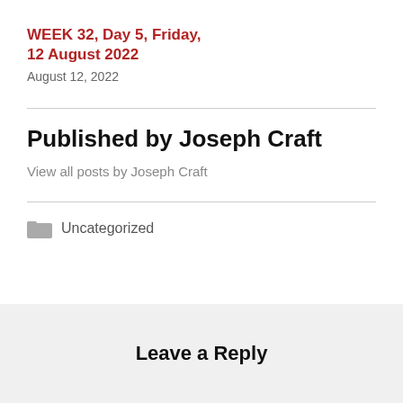WEEK 32, Day 5, Friday, 12 August 2022
August 12, 2022
Published by Joseph Craft
View all posts by Joseph Craft
Uncategorized
Leave a Reply